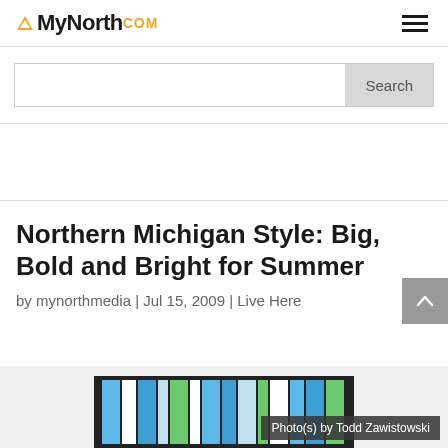MyNorth.COM
Search
Northern Michigan Style: Big, Bold and Bright for Summer
by mynorthmedia | Jul 15, 2009 | Live Here
[Figure (photo): Colorful striped fabric or basket with blue, green, and white stripes, with photo credit overlay reading 'Photo(s) by Todd Zawistowski']